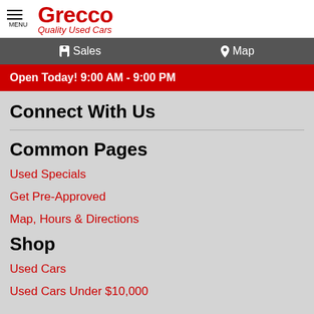Grecco Quality Used Cars
Sales   Map
Open Today! 9:00 AM - 9:00 PM
Connect With Us
Common Pages
Used Specials
Get Pre-Approved
Map, Hours & Directions
Shop
Used Cars
Used Cars Under $10,000